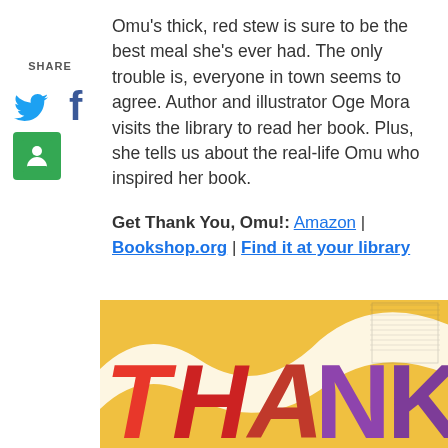SHARE
[Figure (illustration): Twitter bird icon (blue), Facebook 'f' icon (blue), Google Classroom icon (green square with person silhouette)]
Omu's thick, red stew is sure to be the best meal she's ever had. The only trouble is, everyone in town seems to agree. Author and illustrator Oge Mora visits the library to read her book. Plus, she tells us about the real-life Omu who inspired her book.
Get Thank You, Omu!: Amazon | Bookshop.org | Find it at your library
[Figure (illustration): Book cover of 'Thank You, Omu!' showing colorful collage-style text spelling THANK in red, purple, and other colors on a yellow/golden background with a white swirling ribbon design]